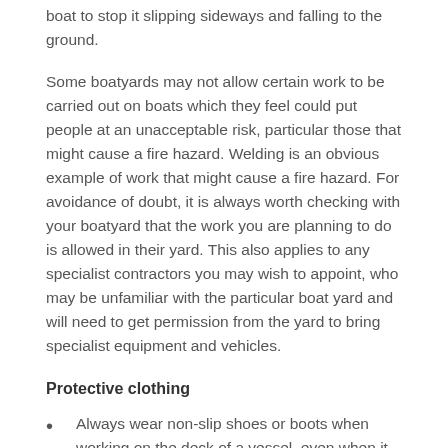boat to stop it slipping sideways and falling to the ground.
Some boatyards may not allow certain work to be carried out on boats which they feel could put people at an unacceptable risk, particular those that might cause a fire hazard. Welding is an obvious example of work that might cause a fire hazard. For avoidance of doubt, it is always worth checking with your boatyard that the work you are planning to do is allowed in their yard. This also applies to any specialist contractors you may wish to appoint, who may be unfamiliar with the particular boat yard and will need to get permission from the yard to bring specialist equipment and vehicles.
Protective clothing
Always wear non-slip shoes or boots when working on the deck of a vessel, even when it is stored ashore.